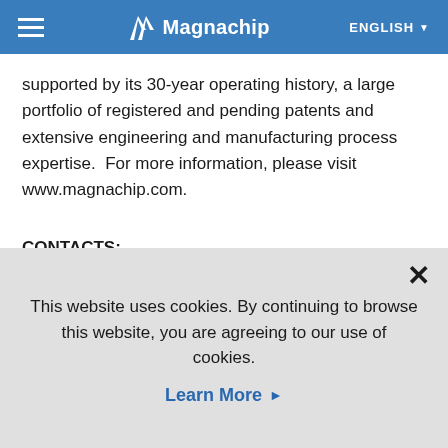≡  Magnachip  ENGLISH ▼
supported by its 30-year operating history, a large portfolio of registered and pending patents and extensive engineering and manufacturing process expertise. For more information, please visit www.magnachip.com.
CONTACTS:
In the United States:
This website uses cookies. By continuing to browse this website, you are agreeing to our use of cookies.
Learn More ▶